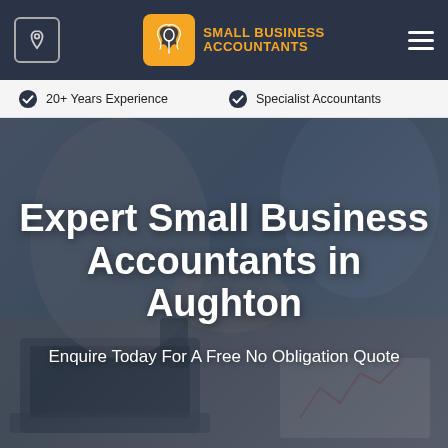[Figure (logo): Small Business Accountants logo with orange bird icon and text in dark navy navigation bar]
20+ Years Experience   Specialist Accountants
Expert Small Business Accountants in Aughton
Enquire Today For A Free No Obligation Quote